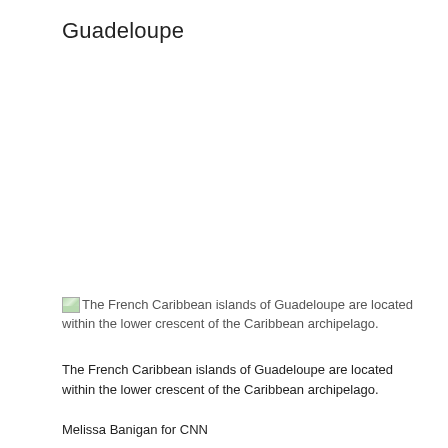Guadeloupe
The French Caribbean islands of Guadeloupe are located within the lower crescent of the Caribbean archipelago.
The French Caribbean islands of Guadeloupe are located within the lower crescent of the Caribbean archipelago.
Melissa Banigan for CNN